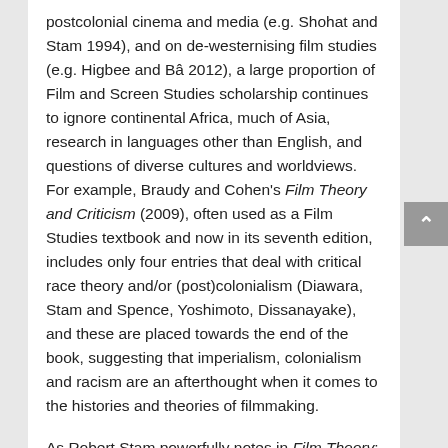postcolonial cinema and media (e.g. Shohat and Stam 1994), and on de-westernising film studies (e.g. Higbee and Bâ 2012), a large proportion of Film and Screen Studies scholarship continues to ignore continental Africa, much of Asia, research in languages other than English, and questions of diverse cultures and worldviews. For example, Braudy and Cohen's Film Theory and Criticism (2009), often used as a Film Studies textbook and now in its seventh edition, includes only four entries that deal with critical race theory and/or (post)colonialism (Diawara, Stam and Spence, Yoshimoto, Dissanayake), and these are placed towards the end of the book, suggesting that imperialism, colonialism and racism are an afterthought when it comes to the histories and theories of filmmaking.
As Robert Stam powerfully notes in Film Theory: